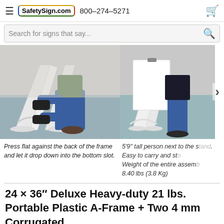SafetySign.com   800–274–5271
Search for signs that say...
[Figure (photo): Person pressing a sign panel flat against the back frame of a white A-frame stand, wearing black gloves and kneeling on the floor.]
[Figure (photo): White portable A-frame sign stand shown next to a 5'9" tall person, demonstrating size scale. Stand is empty with blank white sign panel.]
Press flat against the back of the frame and let it drop down into the bottom slot.
5'9" tall person next to the stand. Easy to carry and sto... Weight of the entire assemb... 8.40 lbs (3.8 Kg)
24 × 36″ Deluxe Heavy-duty 21 lbs. Portable Plastic A-Frame + Two 4 mm Corrugated